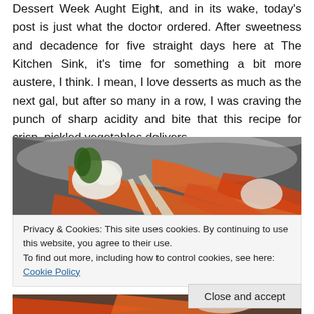Dessert Week Aught Eight, and in its wake, today's post is just what the doctor ordered. After sweetness and decadence for five straight days here at The Kitchen Sink, it's time for something a bit more austere, I think. I mean, I love desserts as much as the next gal, but after so many in a row, I was craving the punch of sharp acidity and bite that this recipe for crisp, pickled vegetables delivers.
[Figure (photo): Close-up photo of mixed pickled vegetables including carrots, cauliflower, and other vegetables in a bowl]
Privacy & Cookies: This site uses cookies. By continuing to use this website, you agree to their use.
To find out more, including how to control cookies, see here: Cookie Policy
[Figure (photo): Partial photo of vegetables visible at bottom of page]